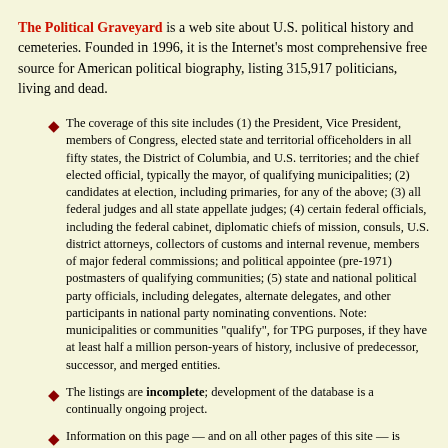The Political Graveyard is a web site about U.S. political history and cemeteries. Founded in 1996, it is the Internet's most comprehensive free source for American political biography, listing 315,917 politicians, living and dead.
The coverage of this site includes (1) the President, Vice President, members of Congress, elected state and territorial officeholders in all fifty states, the District of Columbia, and U.S. territories; and the chief elected official, typically the mayor, of qualifying municipalities; (2) candidates at election, including primaries, for any of the above; (3) all federal judges and all state appellate judges; (4) certain federal officials, including the federal cabinet, diplomatic chiefs of mission, consuls, U.S. district attorneys, collectors of customs and internal revenue, members of major federal commissions; and political appointee (pre-1971) postmasters of qualifying communities; (5) state and national political party officials, including delegates, alternate delegates, and other participants in national party nominating conventions. Note: municipalities or communities "qualify", for TPG purposes, if they have at least half a million person-years of history, inclusive of predecessor, successor, and merged entities.
The listings are incomplete; development of the database is a continually ongoing project.
Information on this page — and on all other pages of this site — is believed to be accurate, but is not guaranteed. Users are advised to check with other sources before relying on any information here.
The official URL for this page is: https://politicalgraveyard.com/geo/MN/HE-parties.html.
Links to this or any other Political Graveyard page are welcome, but specific page addresses may sometimes change as the site develops.
If you are searching for a specific named individual, try the